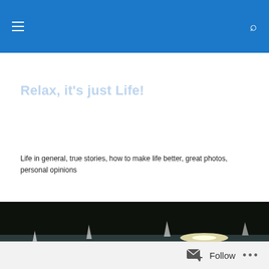Navigation menu and search icon on blue header bar
Relax, it's just Life!
Life in general, true stories, how to make life better, great photos, personal opinions
[Figure (photo): Sailboats on a lake with sunlight reflecting brightly on the water surface, dark treeline in background]
TAGGED WITH AUTHORS
Anyone who loves to read
Follow